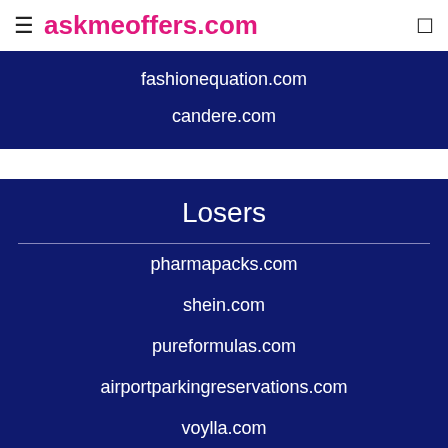askmeoffers.com
fashionequation.com
candere.com
Losers
pharmapacks.com
shein.com
pureformulas.com
airportparkingreservations.com
voylla.com
Related Store